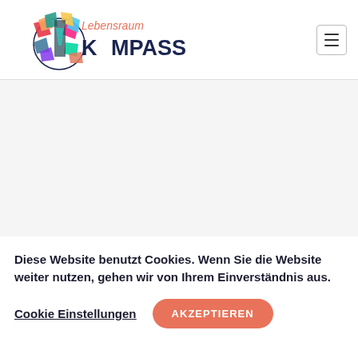[Figure (logo): Lebensraum Kompass logo with colorful geometric bird/butterfly and circular compass outline, with text 'Lebensraum' in orange italic and 'KOMPASS' in dark navy bold]
[Figure (other): Hamburger menu icon button (three horizontal lines) in a rounded rectangle border]
Diese Website benutzt Cookies. Wenn Sie die Website weiter nutzen, gehen wir von Ihrem Einverständnis aus.
Cookie Einstellungen
AKZEPTIEREN